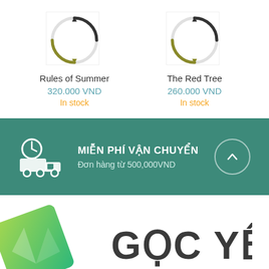[Figure (illustration): Circular loading/spinner icon for Rules of Summer book product]
Rules of Summer
320.000 VND
In stock
[Figure (illustration): Circular loading/spinner icon for The Red Tree book product]
The Red Tree
260.000 VND
In stock
[Figure (infographic): Teal banner with delivery truck icon, text MIEN PHI VAN CHUYEN, Don hang tu 500,000VND, and a circular arrow-up button]
[Figure (logo): Goc Yeo bookstore logo with colorful diamond/book graphic on left and stylized text on right]